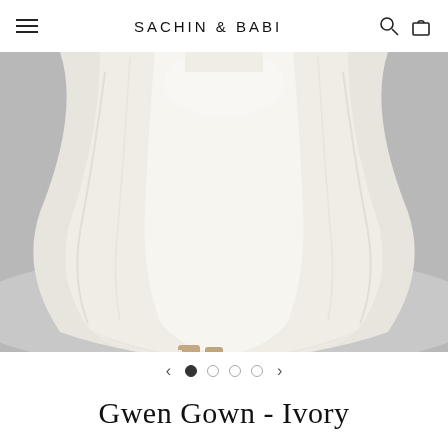SACHIN & BABI
[Figure (photo): Close-up photo of a model wearing an ivory/white structured ballgown. The lower half of the dress is visible, showing a wide A-line skirt with a smooth satin-like fabric. The model is wearing cream open-toe heeled sandals. Background is a neutral gray studio setting.]
Gwen Gown - Ivory